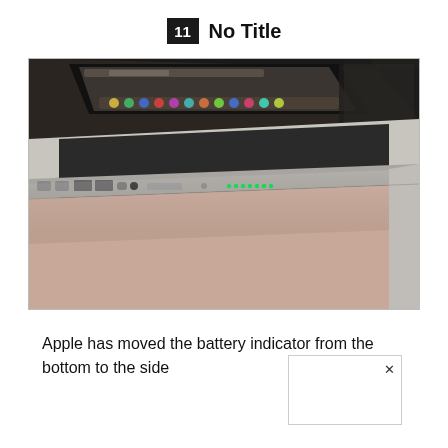11  No Title
[Figure (photo): Close-up photo of a MacBook laptop showing the left side ports (FireWire, USB, audio jack, optical drive slot) and the battery indicator LEDs glowing green on the side. The MacBook screen is visible in the background showing the desktop.]
Apple has moved the battery indicator from the bottom to the side